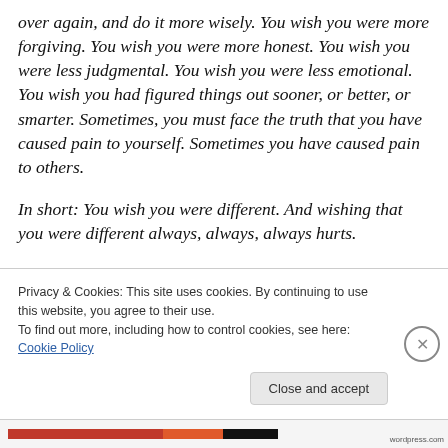over again, and do it more wisely. You wish you were more forgiving. You wish you were more honest. You wish you were less judgmental. You wish you were less emotional. You wish you had figured things out sooner, or better, or smarter. Sometimes, you must face the truth that you have caused pain to yourself. Sometimes you have caused pain to others.
In short: You wish you were different. And wishing that you were different always, always, always hurts.
This is di... (partially visible, cut off by cookie banner)
Privacy & Cookies: This site uses cookies. By continuing to use this website, you agree to their use.
To find out more, including how to control cookies, see here: Cookie Policy
Close and accept